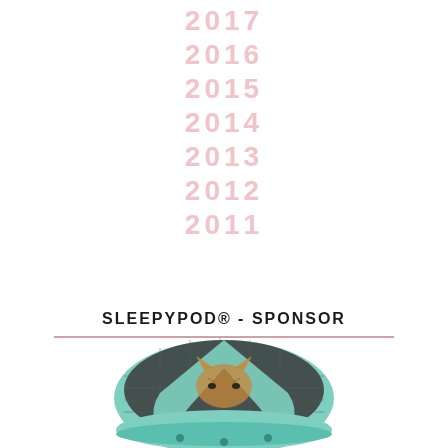2017
2016
2015
2014
2013
2012
2011
SLEEPYPOD® - SPONSOR
[Figure (photo): A cat inside a mint green/teal colored Sleepypod pet carrier with mesh top, partially visible at the bottom of the page]